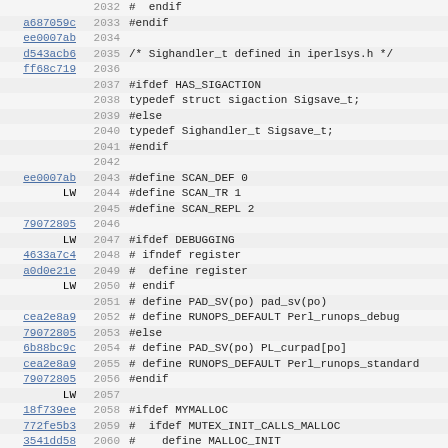| hash | line | code |
| --- | --- | --- |
|  | 2032 | #  endif |
| a687059c | 2033 | #endif |
| ee0007ab | 2034 |  |
| d543acb6 | 2035 | /* Sighandler_t defined in iperlsys.h */ |
| ff68c719 | 2036 |  |
|  | 2037 | #ifdef HAS_SIGACTION |
|  | 2038 | typedef struct sigaction Sigsave_t; |
|  | 2039 | #else |
|  | 2040 | typedef Sighandler_t Sigsave_t; |
|  | 2041 | #endif |
|  | 2042 |  |
| ee0007ab | 2043 | #define SCAN_DEF 0 |
| LW | 2044 | #define SCAN_TR 1 |
|  | 2045 | #define SCAN_REPL 2 |
| 79072805 | 2046 |  |
| LW | 2047 | #ifdef DEBUGGING |
| 4633a7c4 | 2048 | # ifndef register |
| a0d0e21e | 2049 | #  define register |
| LW | 2050 | # endif |
|  | 2051 | # define PAD_SV(po) pad_sv(po) |
| cea2e8a9 | 2052 | # define RUNOPS_DEFAULT Perl_runops_debug |
| 79072805 | 2053 | #else |
| 6b88bc9c | 2054 | # define PAD_SV(po) PL_curpad[po] |
| cea2e8a9 | 2055 | # define RUNOPS_DEFAULT Perl_runops_standard |
| 79072805 | 2056 | #endif |
| LW | 2057 |  |
| 18f739ee | 2058 | #ifdef MYMALLOC |
| 772fe5b3 | 2059 | #  ifdef MUTEX_INIT_CALLS_MALLOC |
| 3541dd58 | 2060 | #    define MALLOC_INIT |
| HM | 2061 |         STMT_START { |
|  | 2062 |                 PL_malloc_mutex = NULL; |
|  | 2063 |                 MUTEX_INIT(&PL_malloc_mutex) |
|  | 2064 | } STMT_END |